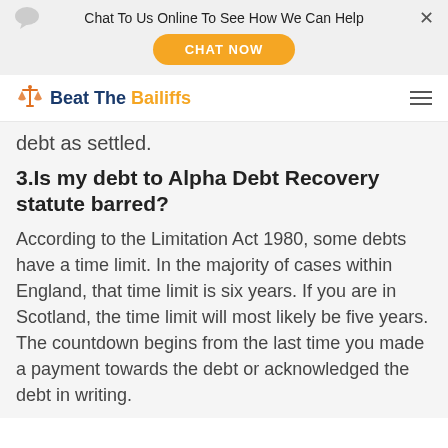Chat To Us Online To See How We Can Help
[Figure (logo): Beat The Bailiffs logo with scales of justice icon]
debt as settled.
3.Is my debt to Alpha Debt Recovery statute barred?
According to the Limitation Act 1980, some debts have a time limit. In the majority of cases within England, that time limit is six years. If you are in Scotland, the time limit will most likely be five years. The countdown begins from the last time you made a payment towards the debt or acknowledged the debt in writing.